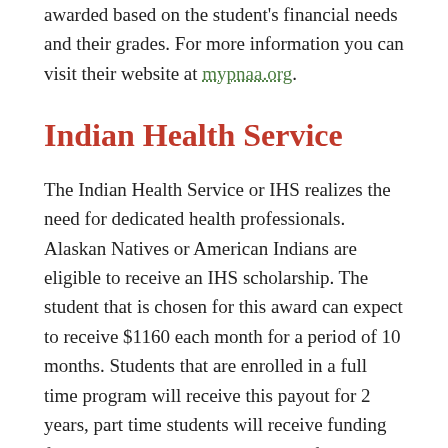awarded based on the student's financial needs and their grades. For more information you can visit their website at mypnaa.org.
Indian Health Service
The Indian Health Service or IHS realizes the need for dedicated health professionals. Alaskan Natives or American Indians are eligible to receive an IHS scholarship. The student that is chosen for this award can expect to receive $1160 each month for a period of 10 months. Students that are enrolled in a full time program will receive this payout for 2 years, part time students will receive funding for as many as 4 years. For more information or to apply, visit their website at IHS.gov.
Doing adequate research and finding nursing grants can play a vital role in paying tuition for